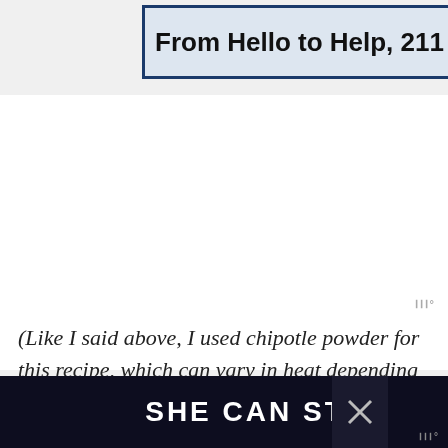[Figure (screenshot): Advertisement banner: 'From Hello to Help, 211 is Here' with dark blue border on light blue background, with close X button]
(Like I said above, I used chipotle powder for this recipe, which can vary in heat depending on the brand you use and how
[Figure (screenshot): Footer advertisement banner with dark background reading 'SHE CAN STEM' in bold white text, with a close X button and moat badge]